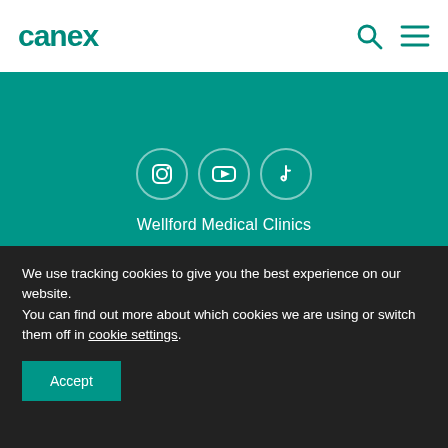canex
[Figure (screenshot): Teal background section showing three social media icon circles (Instagram, YouTube/play, TikTok) arranged horizontally]
Wellford Medical Clinics
Get In Touch
Contact Us
We use tracking cookies to give you the best experience on our website.
You can find out more about which cookies we are using or switch them off in cookie settings.